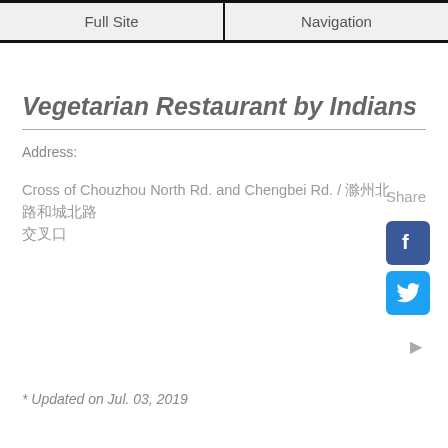Full Site | Navigation
Vegetarian Restaurant by Indians
Address:
Share
Cross of Chouzhou North Rd. and Chengbei Rd. / 滁州北路和城北路交叉口
* Updated on Jul. 03, 2019